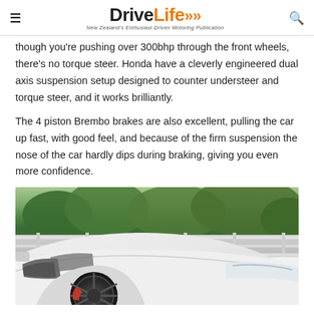DriveLife – New Zealand's Enthusiast Driven Motoring Publication
though you're pushing over 300bhp through the front wheels, there's no torque steer. Honda have a cleverly engineered dual axis suspension setup designed to counter understeer and torque steer, and it works brilliantly.
The 4 piston Brembo brakes are also excellent, pulling the car up fast, with good feel, and because of the firm suspension the nose of the car hardly dips during braking, giving you even more confidence.
[Figure (photo): White Honda Civic Type R photographed from the front-left angle showing the wheel, fender, and hood against a background of a white fence and green trees.]